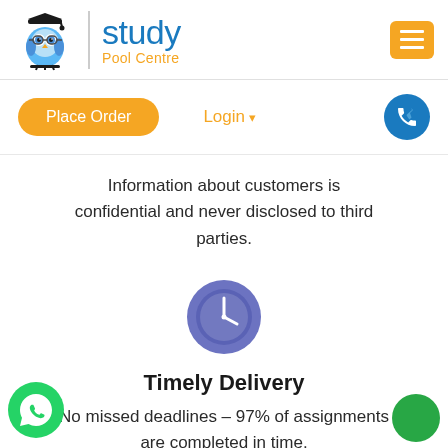[Figure (logo): Study Pool Centre logo: blue owl with graduation cap, vertical divider, brand name 'study' in blue and 'Pool Centre' in orange]
[Figure (other): Orange hamburger menu button (three white lines) in top right corner]
[Figure (other): Orange 'Place Order' rounded button, orange 'Login' text with caret, blue phone icon circle]
Information about customers is confidential and never disclosed to third parties.
[Figure (other): Blue/purple circle with white clock icon]
Timely Delivery
No missed deadlines – 97% of assignments are completed in time.
[Figure (other): Green WhatsApp icon floating bottom left]
[Figure (other): Green circle floating bottom right]